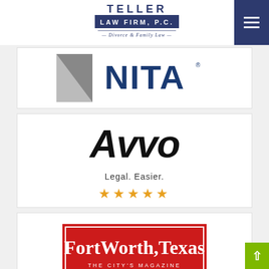[Figure (logo): Teller Law Firm P.C. — Divorce & Family Law logo]
[Figure (logo): NITA logo with grey triangle and blue text]
[Figure (logo): Avvo — Legal. Easier. logo with 5 orange stars]
[Figure (logo): Fort Worth Texas The City's Magazine Top Attorney badge]